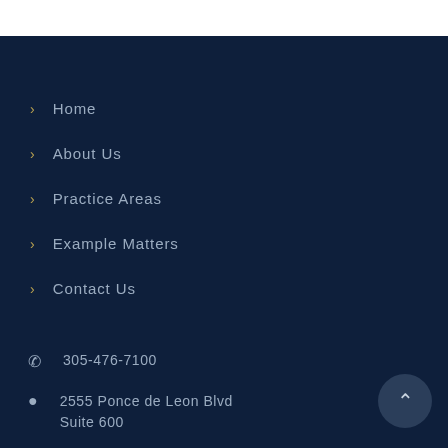> Home
> About Us
> Practice Areas
> Example Matters
> Contact Us
305-476-7100
2555 Ponce de Leon Blvd
Suite 600